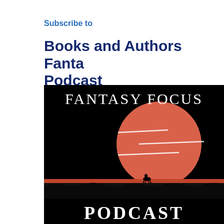Subscribe to
Books and Authors Fantasy Podcast
[Figure (illustration): Podcast cover art for 'Fantasy Focus Podcast' — black background with a large salmon/red circle (moon or sun) in the upper center-right, three horizontal white lines across the circle, a red horizontal brushstroke band near the bottom with a small silhouette of a horse and rider on it, dark landscape silhouette below, white serif text 'FANTASY FOCUS' at top and 'PODCAST' at bottom.]